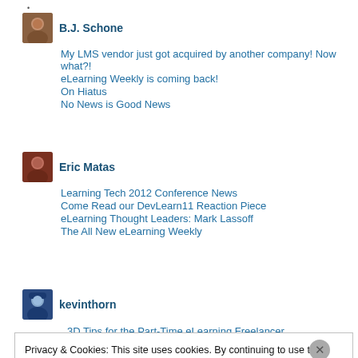•
B.J. Schone
My LMS vendor just got acquired by another company! Now what?!
eLearning Weekly is coming back!
On Hiatus
No News is Good News
Eric Matas
Learning Tech 2012 Conference News
Come Read our DevLearn11 Reaction Piece
eLearning Thought Leaders: Mark Lassoff
The All New eLearning Weekly
kevinthorn
3D Tips for the Part-Time eLearning Freelancer
Privacy & Cookies: This site uses cookies. By continuing to use this website, you agree to their use. To find out more, including how to control cookies, see here: Cookie Policy
Close and accept